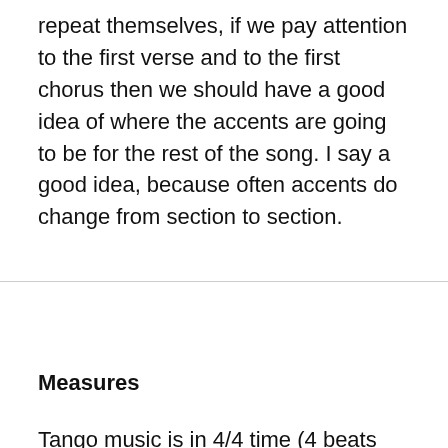repeat themselves, if we pay attention to the first verse and to the first chorus then we should have a good idea of where the accents are going to be for the rest of the song. I say a good idea, because often accents do change from section to section.
Measures
Tango music is in 4/4 time (4 beats per